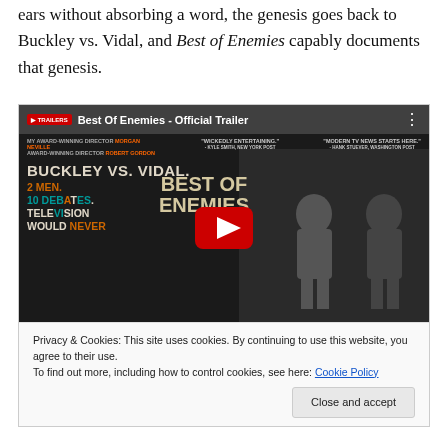ears without absorbing a word, the genesis goes back to Buckley vs. Vidal, and Best of Enemies capably documents that genesis.
[Figure (screenshot): YouTube video thumbnail for 'Best Of Enemies - Official Trailer' showing movie poster with text 'BUCKLEY VS. VIDAL. 2 MEN. 10 DEBATES. TELEVISION WOULD NEVER' and 'BEST OF ENEMIES', with a red play button overlay and a black-and-white photo of two men seated and talking. A cookie consent banner is overlaid at the bottom of the video player.]
Privacy & Cookies: This site uses cookies. By continuing to use this website, you agree to their use.
To find out more, including how to control cookies, see here: Cookie Policy